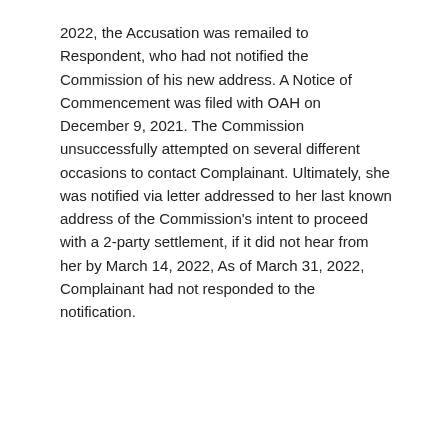2022, the Accusation was remailed to Respondent, who had not notified the Commission of his new address. A Notice of Commencement was filed with OAH on December 9, 2021. The Commission unsuccessfully attempted on several different occasions to contact Complainant. Ultimately, she was notified via letter addressed to her last known address of the Commission's intent to proceed with a 2-party settlement, if it did not hear from her by March 14, 2022, As of March 31, 2022, Complainant had not responded to the notification.
STAY CONNECTED